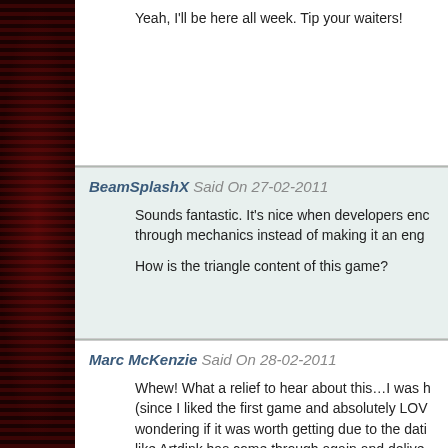Yeah, I'll be here all week. Tip your waiters!
BeamSplashX Said On 27-02-2011
Sounds fantastic. It's nice when developers enc through mechanics instead of making it an eng

How is the triangle content of this game?
Marc McKenzie Said On 28-02-2011
Whew! What a relief to hear about this…I was h (since I liked the first game and absolutely LOV wondering if it was worth getting due to the dat like Artdink has come through again and delive

And as you said, it has the Metal Siren. How aw